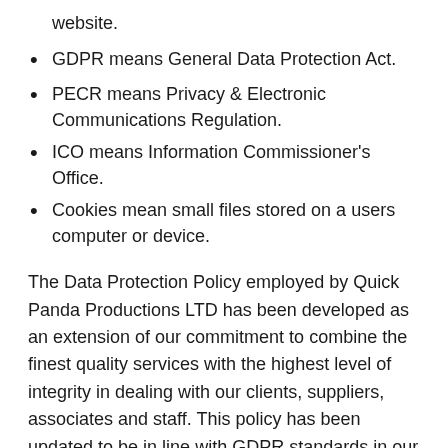website.
GDPR means General Data Protection Act.
PECR means Privacy & Electronic Communications Regulation.
ICO means Information Commissioner's Office.
Cookies mean small files stored on a users computer or device.
The Data Protection Policy employed by Quick Panda Productions LTD has been developed as an extension of our commitment to combine the finest quality services with the highest level of integrity in dealing with our clients, suppliers, associates and staff. This policy has been updated to be in line with GDPR standards in our on-going commitment to protecting the privacy and security of your personal information. This policy guides you through how we collect store and use information about individuals and